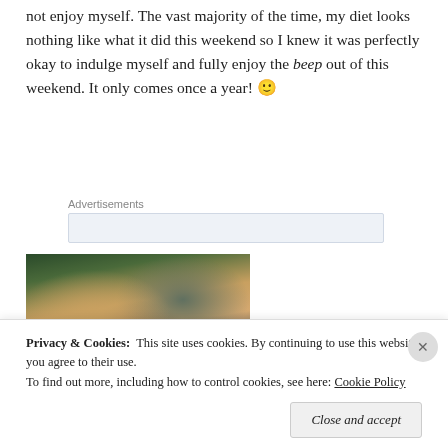not enjoy myself. The vast majority of the time, my diet looks nothing like what it did this weekend so I knew it was perfectly okay to indulge myself and fully enjoy the beep out of this weekend. It only comes once a year! 🙂
Advertisements
[Figure (photo): A crowd of people at an outdoor event or festival, with a woman with brown hair in the foreground.]
Privacy & Cookies: This site uses cookies. By continuing to use this website, you agree to their use. To find out more, including how to control cookies, see here: Cookie Policy
Close and accept